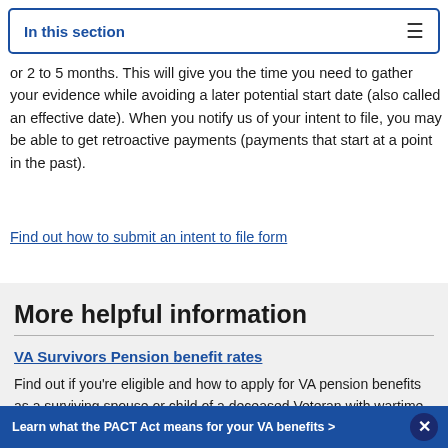In this section
or 2 to 5 months. This will give you the time you need to gather your evidence while avoiding a later potential start date (also called an effective date). When you notify us of your intent to file, you may be able to get retroactive payments (payments that start at a point in the past).
Find out how to submit an intent to file form
More helpful information
VA Survivors Pension benefit rates
Find out if you're eligible and how to apply for VA pension benefits as a surviving spouse or child of a deceased Veteran with wartime service.
Learn what the PACT Act means for your VA benefits >